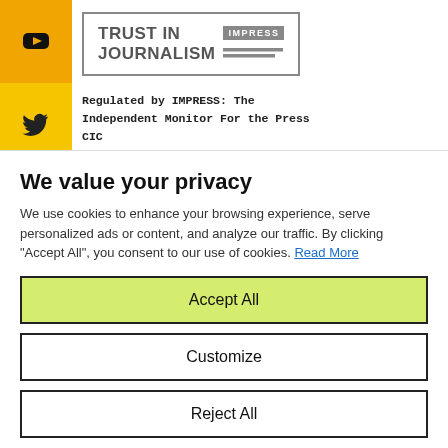[Figure (logo): Trust in Journalism IMPRESS logo in a rectangular border]
Regulated by IMPRESS: The Independent Monitor For the Press CIC
IMPRESS 16-18 New Bridge Street London EC4A...
We value your privacy
We use cookies to enhance your browsing experience, serve personalized ads or content, and analyze our traffic. By clicking "Accept All", you consent to our use of cookies. Read More
Accept All
Customize
Reject All